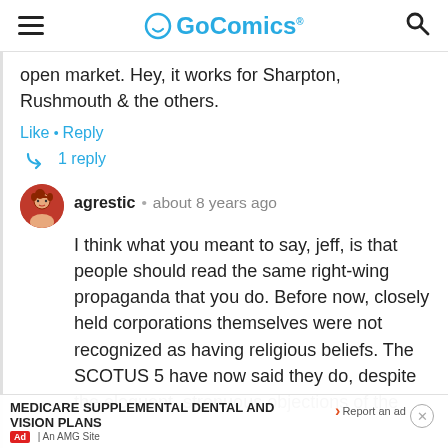GoComics
open market. Hey, it works for Sharpton, Rushmouth & the others.
Like • Reply
1 reply
agrestic • about 8 years ago
I think what you meant to say, jeff, is that people should read the same right-wing propaganda that you do. Before now, closely held corporations themselves were not recognized as having religious beliefs. The SCOTUS 5 have now said they do, despite the eloquent, strenuous objections of the
MEDICARE SUPPLEMENTAL DENTAL AND VISION PLANS
Ad | An AMG Site
Report an ad